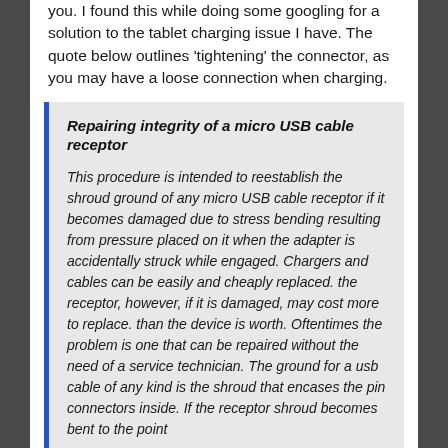you.  I found this while doing some googling for a solution to the tablet charging issue I have. The quote below outlines 'tightening' the connector, as you may have a loose connection when charging.
Repairing integrity of a micro USB cable receptor
This procedure is intended to reestablish the shroud ground of any micro USB cable receptor if it becomes damaged due to stress bending resulting from pressure placed on it when the adapter is accidentally struck while engaged. Chargers and cables can be easily and cheaply replaced.  the receptor, however, if it is damaged, may cost more to replace. than the device is worth.  Oftentimes the problem is one that can be repaired without the need of a service technician. The ground for a usb cable of any kind is the shroud that encases the pin connectors inside.  If the receptor shroud becomes bent to the point